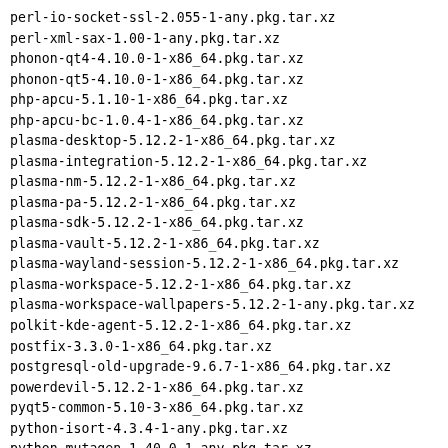perl-io-socket-ssl-2.055-1-any.pkg.tar.xz
perl-xml-sax-1.00-1-any.pkg.tar.xz
phonon-qt4-4.10.0-1-x86_64.pkg.tar.xz
phonon-qt5-4.10.0-1-x86_64.pkg.tar.xz
php-apcu-5.1.10-1-x86_64.pkg.tar.xz
php-apcu-bc-1.0.4-1-x86_64.pkg.tar.xz
plasma-desktop-5.12.2-1-x86_64.pkg.tar.xz
plasma-integration-5.12.2-1-x86_64.pkg.tar.xz
plasma-nm-5.12.2-1-x86_64.pkg.tar.xz
plasma-pa-5.12.2-1-x86_64.pkg.tar.xz
plasma-sdk-5.12.2-1-x86_64.pkg.tar.xz
plasma-vault-5.12.2-1-x86_64.pkg.tar.xz
plasma-wayland-session-5.12.2-1-x86_64.pkg.tar.xz
plasma-workspace-5.12.2-1-x86_64.pkg.tar.xz
plasma-workspace-wallpapers-5.12.2-1-any.pkg.tar.xz
polkit-kde-agent-5.12.2-1-x86_64.pkg.tar.xz
postfix-3.3.0-1-x86_64.pkg.tar.xz
postgresql-old-upgrade-9.6.7-1-x86_64.pkg.tar.xz
powerdevil-5.12.2-1-x86_64.pkg.tar.xz
pyqt5-common-5.10-3-x86_64.pkg.tar.xz
python-isort-4.3.4-1-any.pkg.tar.xz
python-mutagen-1.40.0-1-any.pkg.tar.xz
python-numpy-1.14.1-1-x86_64.pkg.tar.xz
python-ply-3.11-1-any.pkg.tar.xz
python-pyqt5-5.10-3-x86_64.pkg.tar.xz
python2-isort-4.3.4-1-any.pkg.tar.xz
python2-numpy-1.14.1-1-x86_64.pkg.tar.xz
python2-ply-3.11-1-any.pkg.tar.xz
python2-pyqt5-5.10-3-x86_64.pkg.tar.xz
qemu-2.11.1-1-x86_64.pkg.tar.xz